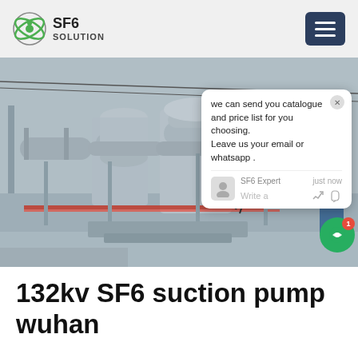SF6 SOLUTION
[Figure (photo): Industrial SF6 gas-insulated electrical switchgear equipment at an outdoor substation, showing large cylindrical pipe assemblies on metal frames with red safety barriers, photographed in winter/snowy conditions.]
we can send you catalogue and price list for you choosing. Leave us your email or whatsapp . SF6 Expert  just now  Write a
132kv SF6 suction pump wuhan